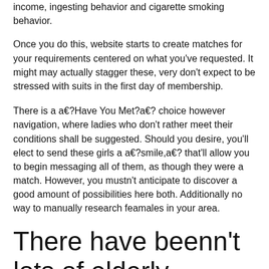income, ingesting behavior and cigarette smoking behavior.
Once you do this, website starts to create matches for your requirements centered on what you've requested. It might may actually stagger these, very don't expect to be stressed with suits in the first day of membership.
There is a a€?Have You Met?a€? choice however navigation, where ladies who don't rather meet their conditions shall be suggested. Should you desire, you'll elect to send these girls a a€?smile,a€? that'll allow you to begin messaging all of them, as though they were a match. However, you mustn't anticipate to discover a good amount of possibilities here both. Additionally no way to manually research feamales in your area.
There have beenn't lots of elderly females with this website, but you will find